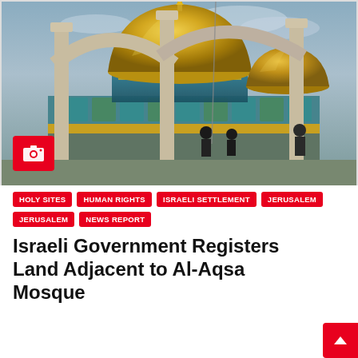[Figure (photo): Photo of the Dome of the Rock mosque in Jerusalem, showing the golden dome, ornate blue and green tile work, stone arches and columns in the foreground, with figures visible in the mid-ground. A red camera icon overlay is in the lower-left corner of the image.]
HOLY SITES
HUMAN RIGHTS
ISRAELI SETTLEMENT
JERUSALEM
JERUSALEM
NEWS REPORT
Israeli Government Registers Land Adjacent to Al-Aqsa Mosque